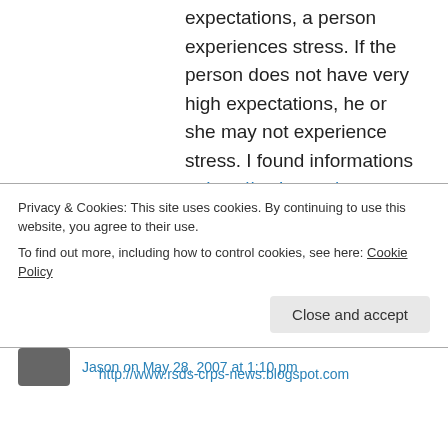expectations, a person experiences stress. If the person does not have very high expectations, he or she may not experience stress. I found informations at http://mshn.org/
★ Like
👍 0 👎 0 ℹ Rate This
↪ Reply
Jason on May 28, 2007 at 1:10 pm
Privacy & Cookies: This site uses cookies. By continuing to use this website, you agree to their use.
To find out more, including how to control cookies, see here: Cookie Policy
Close and accept
http://www.rsds-crps-news.blogspot.com